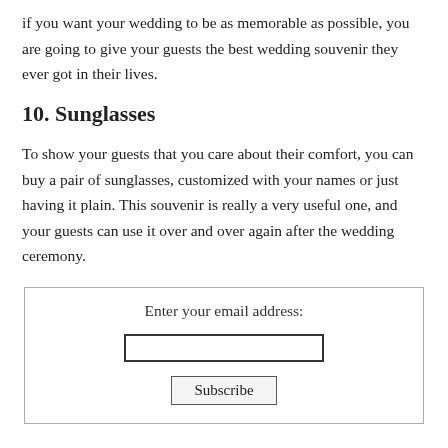if you want your wedding to be as memorable as possible, you are going to give your guests the best wedding souvenir they ever got in their lives.
10. Sunglasses
To show your guests that you care about their comfort, you can buy a pair of sunglasses, customized with your names or just having it plain. This souvenir is really a very useful one, and your guests can use it over and over again after the wedding ceremony.
[Figure (other): Email subscription box with label 'Enter your email address:', an empty text input field, and a 'Subscribe' button.]